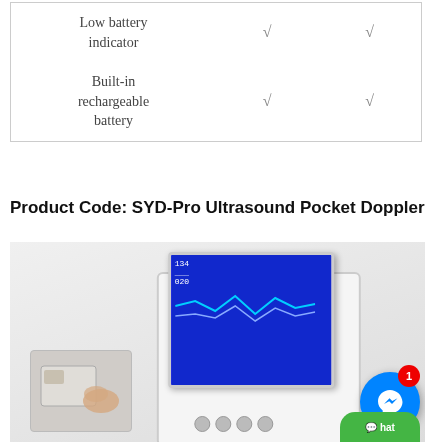| Feature | Model A | Model B |
| --- | --- | --- |
| Low battery indicator | √ | √ |
| Built-in rechargeable battery | √ | √ |
Product Code: SYD-Pro Ultrasound Pocket Doppler
[Figure (photo): Photo of a medical ultrasound pocket Doppler device with blue display screen showing waveform readings, alongside a hand holding a card-like component]